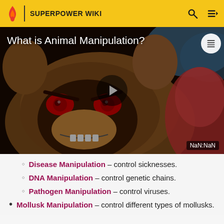SUPERPOWER WIKI
[Figure (screenshot): Video thumbnail showing animated bear/dog creature with red eyes and an angry expression. White text overlay reads 'What is Animal Manipulation?' with a play button in the center and NaN:NaN timestamp in the lower right.]
What is Animal Manipulation?
Disease Manipulation – control sicknesses.
DNA Manipulation – control genetic chains.
Pathogen Manipulation – control viruses.
Mollusk Manipulation – control different types of mollusks.